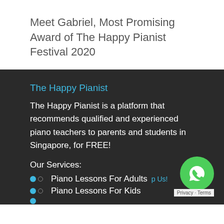Meet Gabriel, Most Promising Award of The Happy Pianist Festival 2020
The Happy Pianist
The Happy Pianist is a platform that recommends qualified and experienced piano teachers to parents and students in Singapore, for FREE!
Our Services:
Piano Lessons For Adults
Piano Lessons For Kids
[Figure (other): WhatsApp chat button overlay with Privacy - Terms label]